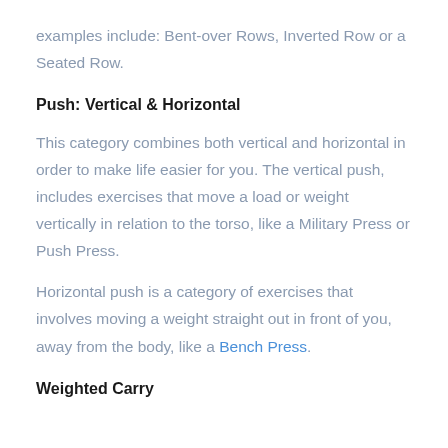examples include: Bent-over Rows, Inverted Row or a Seated Row.
Push: Vertical & Horizontal
This category combines both vertical and horizontal in order to make life easier for you. The vertical push, includes exercises that move a load or weight vertically in relation to the torso, like a Military Press or Push Press.
Horizontal push is a category of exercises that involves moving a weight straight out in front of you, away from the body, like a Bench Press.
Weighted Carry